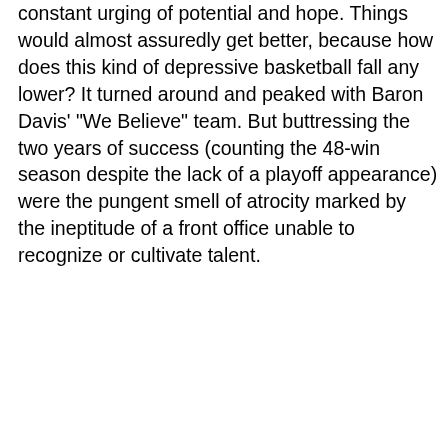constant urging of potential and hope. Things would almost assuredly get better, because how does this kind of depressive basketball fall any lower? It turned around and peaked with Baron Davis' "We Believe" team. But buttressing the two years of success (counting the 48-win season despite the lack of a playoff appearance) were the pungent smell of atrocity marked by the ineptitude of a front office unable to recognize or cultivate talent.